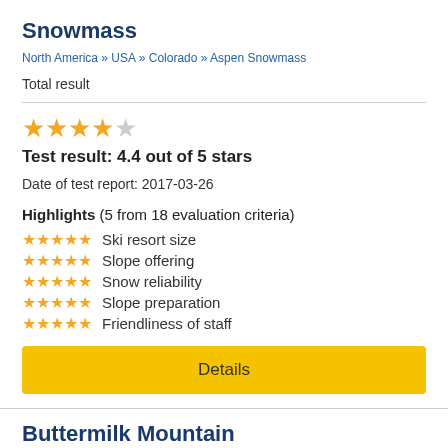Snowmass
North America » USA » Colorado » Aspen Snowmass
Total result
Test result: 4.4 out of 5 stars
Date of test report: 2017-03-26
Highlights (5 from 18 evaluation criteria)
Ski resort size
Slope offering
Snow reliability
Slope preparation
Friendliness of staff
Details
Buttermilk Mountain